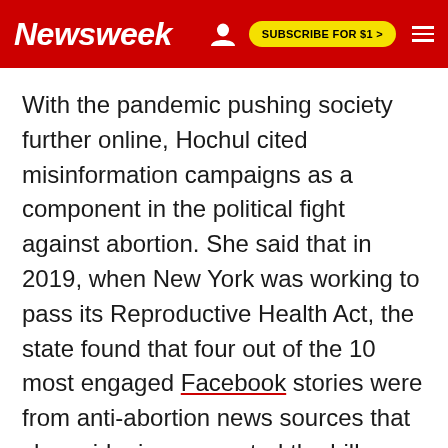Newsweek | SUBSCRIBE FOR $1 >
With the pandemic pushing society further online, Hochul cited misinformation campaigns as a component in the political fight against abortion. She said that in 2019, when New York was working to pass its Reproductive Health Act, the state found that four out of the 10 most engaged Facebook stories were from anti-abortion news sources that she said misrepresented the bill.
To avoid future misinformation campaigns,